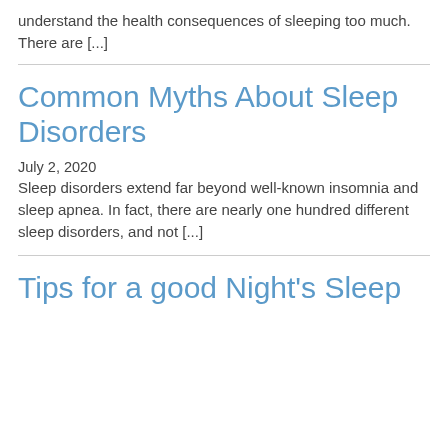understand the health consequences of sleeping too much. There are [...]
Common Myths About Sleep Disorders
July 2, 2020
Sleep disorders extend far beyond well-known insomnia and sleep apnea. In fact, there are nearly one hundred different sleep disorders, and not [...]
Tips for a good Night's Sleep